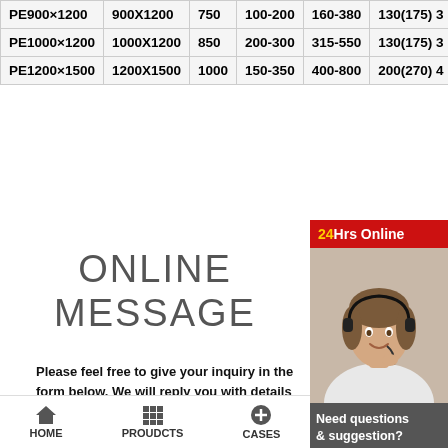| Model | Feed opening(mm) | Max feed size(mm) | Adjustable range(mm) | Capacity(t/h) | Motor power(kw) |
| --- | --- | --- | --- | --- | --- |
| PE900×1200 | 900X1200 | 750 | 100-200 | 160-380 | 130(175) 3... |
| PE1000×1200 | 1000X1200 | 850 | 200-300 | 315-550 | 130(175) 3... |
| PE1200×1500 | 1200X1500 | 1000 | 150-350 | 400-800 | 200(270) 4... |
ONLINE MESSAGE
Please feel free to give your inquiry in the form below. We will reply you with details ASAP
Name:
[Figure (photo): Customer service representative with headset smiling, with 24Hrs Online banner and chat options sidebar]
HOME   PROUDCTS   CASES   limingjlmofen